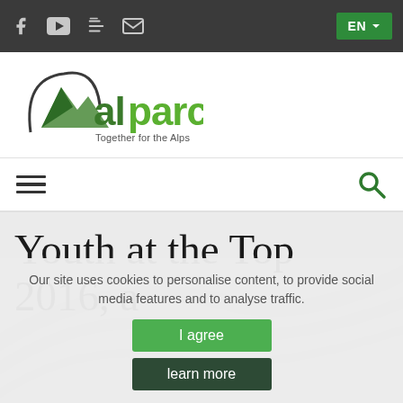Social icons: Facebook, YouTube, ē, email | EN language selector
[Figure (logo): ALPARC logo with mountain graphic and text 'alparc - Together for the Alps']
Navigation bar with hamburger menu and search icon
Youth at the Top 2016, a
Our site uses cookies to personalise content, to provide social media features and to analyse traffic.
I agree
learn more